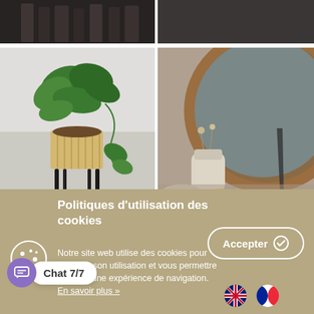[Figure (photo): Top left: dark background with bottles]
[Figure (photo): Top right: dark background product shot]
[Figure (photo): Middle left: plant in bamboo pot stand on grey floor]
[Figure (photo): Middle right: large circular slate/copper decorative disc with vase and bowl]
Politiques d'utilisation des cookies
Notre site web utilise des cookies pour analyser son utilisation et vous permettre d'utiliser une expérience de navigation. En savoir plus »
Accepter
Chat 7/7